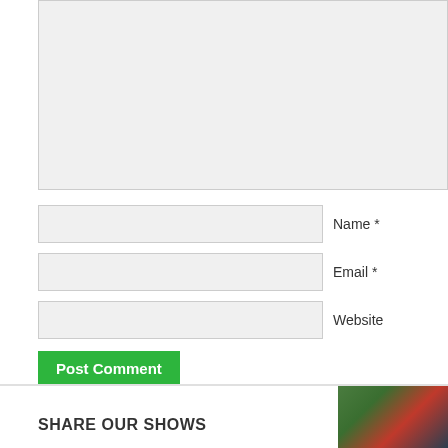[Figure (screenshot): Comment textarea input box (light gray background, empty)]
Name *
Email *
Website
Post Comment
Confirm you are NOT a spammer
SHARE OUR SHOWS
[Figure (photo): Group photo of people, partially visible at bottom right]